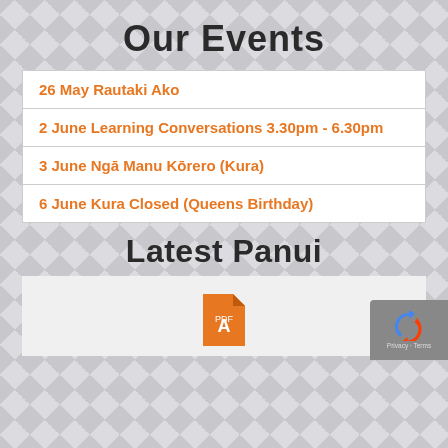Our Events
26 May Rautaki Ako
2 June Learning Conversations 3.30pm - 6.30pm
3 June Ngā Manu Kōrero (Kura)
6 June Kura Closed (Queens Birthday)
Latest Panui
[Figure (other): PDF file icon in orange]
[Figure (other): reCAPTCHA badge with logo and Privacy - Terms links]